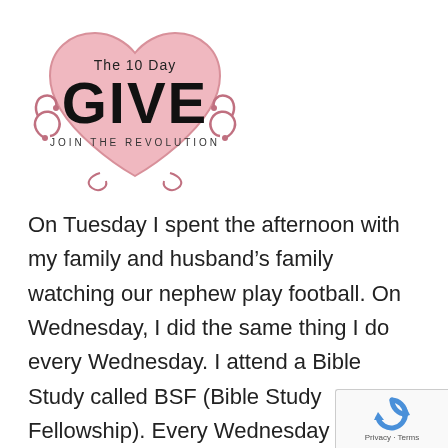[Figure (logo): The 10 Day GIVE - Join the Revolution logo with pink heart and decorative swirls]
On Tuesday I spent the afternoon with my family and husband’s family watching our nephew play football. On Wednesday, I did the same thing I do every Wednesday. I attend a Bible Study called BSF (Bible Study Fellowship). Every Wednesday morning I go early and watch a few children while th leaders pray before we…
[Figure (other): Google reCAPTCHA badge with Privacy and Terms links]